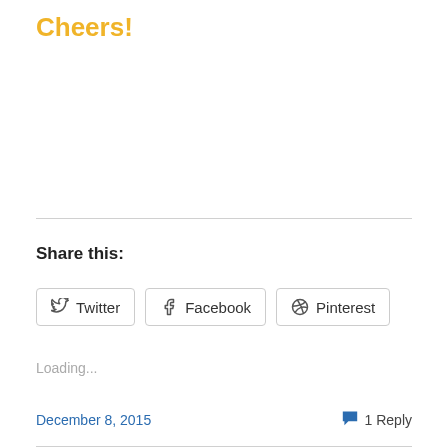Cheers!
Share this:
Twitter
Facebook
Pinterest
Loading...
December 8, 2015
1 Reply
Cliffs Wine Picks – Oct 27, 2014 to Nov 2, 2014